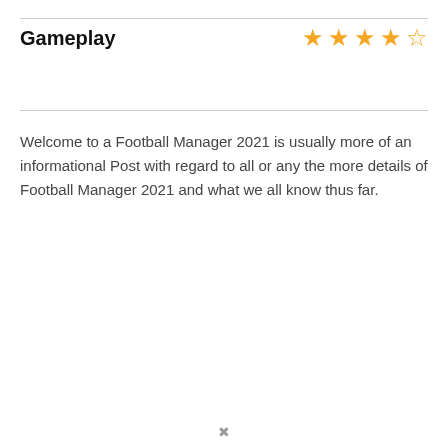Gameplay
Welcome to a Football Manager 2021 is usually more of an informational Post with regard to all or any the more details of Football Manager 2021 and what we all know thus far.